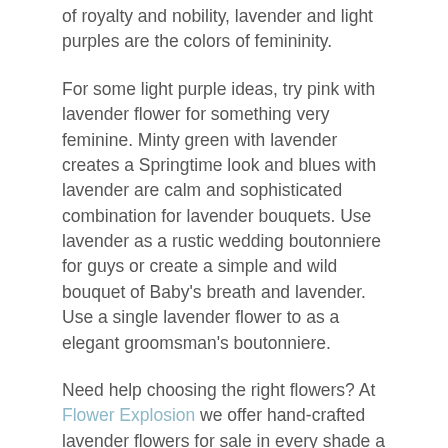of royalty and nobility, lavender and light purples are the colors of femininity.
For some light purple ideas, try pink with lavender flower for something very feminine. Minty green with lavender creates a Springtime look and blues with lavender are calm and sophisticated combination for lavender bouquets. Use lavender as a rustic wedding boutonniere for guys or create a simple and wild bouquet of Baby's breath and lavender. Use a single lavender flower to as a elegant groomsman's boutonniere.
Need help choosing the right flowers? At Flower Explosion we offer hand-crafted lavender flowers for sale in every shade a bride could want. Our exceptional customer service is at the ready to help you with the perfect selection.
Grown in the Andes foothills and enjoying 350-plus days our quality is superior and, with no middleman to bump up the cost, our prices are surprisingly reasonable—We don't offer cheap lavender flowers, just good prices.